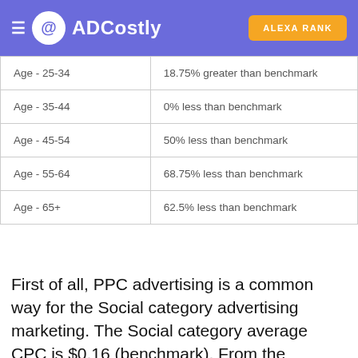ADCostly | ALEXA RANK
| Age - 25-34 | 18.75% greater than benchmark |
| Age - 35-44 | 0% less than benchmark |
| Age - 45-54 | 50% less than benchmark |
| Age - 55-64 | 68.75% less than benchmark |
| Age - 65+ | 62.5% less than benchmark |
First of all, PPC advertising is a common way for the Social category advertising marketing. The Social category average CPC is $0.16 (benchmark). From the perspective of gender, the average CPC of Female is higher, and its cost is 37.5% greater than the average